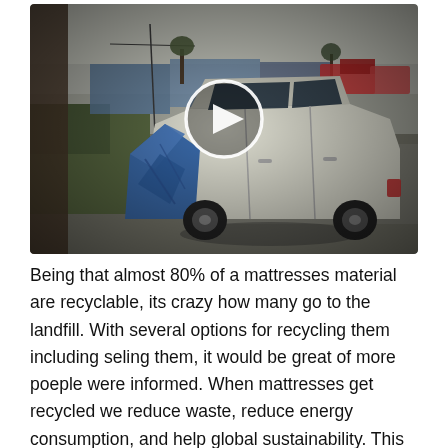[Figure (photo): A fisheye/wide-angle security or dashcam view of a white SUV with a blue tarp or mattress tied to its back hatch, parked in a muddy lot. The background shows a gray overcast sky, wet pavement, some trucks, and a grass area. A play button (circle with triangle) is overlaid at center, indicating this is a video thumbnail.]
Being that almost 80% of a mattresses material are recyclable, its crazy how many go to the landfill. With several options for recycling them including seling them, it would be great of more poeple were informed. When mattresses get recycled we reduce waste, reduce energy consumption, and help global sustainability. This is what I have learned from